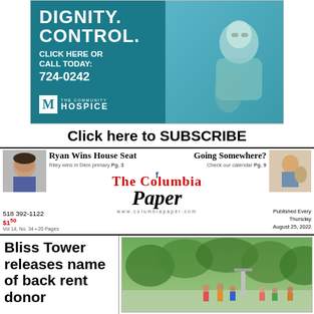[Figure (photo): The Community Hospice advertisement with teal background. Text reads: DIGNITY. CONTROL. CLICK HERE OR CALL TODAY: 724-0242. The Community Hospice logo. Photo of elderly woman smiling.]
Click here to SUBSCRIBE
[Figure (photo): Headshot photo of a man (Ryan) in newspaper header]
Ryan Wins House Seat
Riley wins in Dem primary Pg. 3
Going Somewhere?
Check our calendar Pg. 9
[Figure (photo): Photo of child with animal in newspaper header]
The Columbia Paper
518 392-1122
$1.50
Vol 14, No. 34 • 20 Pages
www.columbiapaper.com
Published Every Thursday August 25, 2022
Bliss Tower releases name of back rent donor
[Figure (photo): Photo of people at a swimming pool or outdoor water area with trees in background]